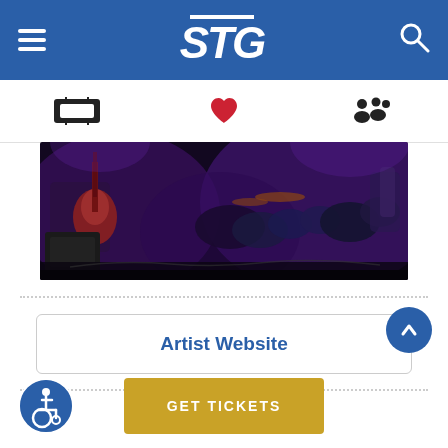STG navigation header with hamburger menu, STG logo, and search icon
[Figure (screenshot): Icon bar with ticket icon, red heart icon, and group/people icon]
[Figure (photo): Concert photo showing band on stage with guitar player and drum kit under purple stage lighting]
Artist Website
[Figure (illustration): Wheelchair accessibility icon in blue circle]
GET TICKETS